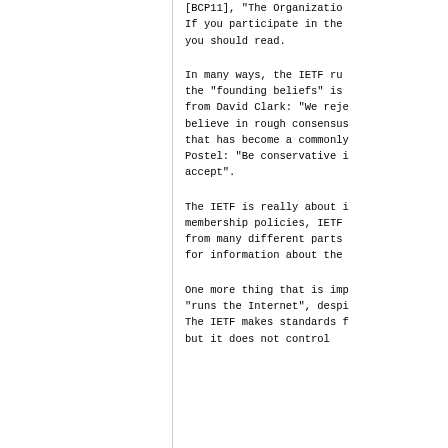[BCP11], "The Organization... If you participate in the... you should read.
In many ways, the IETF ru... the "founding beliefs" is... from David Clark: "We reje... believe in rough consensus... that has become a commonly... Postel: "Be conservative i... accept".
The IETF is really about i... membership policies, IETF... from many different parts... for information about the...
One more thing that is imp... "runs the Internet", despi... The IETF makes standards f... but it does not control...